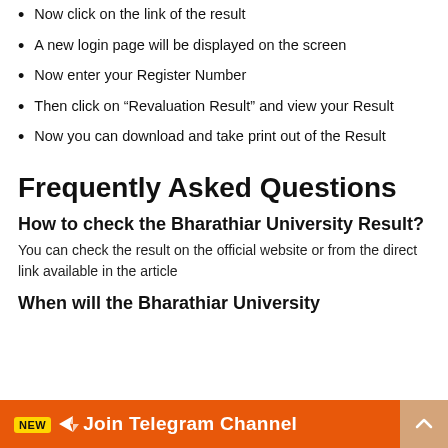Now click on the link of the result
A new login page will be displayed on the screen
Now enter your Register Number
Then click on “Revaluation Result” and view your Result
Now you can download and take print out of the Result
Frequently Asked Questions
How to check the Bharathiar University Result?
You can check the result on the official website or from the direct link available in the article
When will the Bharathiar University Result be declared?
Join Telegram Channel